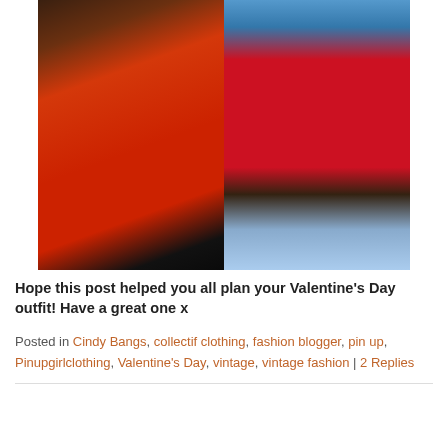[Figure (photo): Two side-by-side fashion photos: left shows a woman in a red pencil dress at a bar/restaurant setting; right shows a woman in a red floral full circle skirt outdoors near a pool.]
Hope this post helped you all plan your Valentine's Day outfit! Have a great one x
Posted in Cindy Bangs, collectif clothing, fashion blogger, pin up, Pinupgirlclothing, Valentine's Day, vintage, vintage fashion | 2 Replies